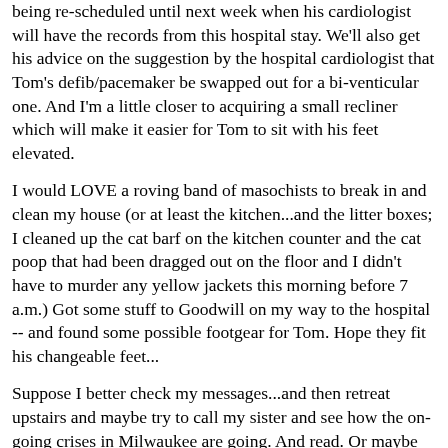being re-scheduled until next week when his cardiologist will have the records from this hospital stay. We'll also get his advice on the suggestion by the hospital cardiologist that Tom's defib/pacemaker be swapped out for a bi-venticular one. And I'm a little closer to acquiring a small recliner which will make it easier for Tom to sit with his feet elevated.
I would LOVE a roving band of masochists to break in and clean my house (or at least the kitchen...and the litter boxes; I cleaned up the cat barf on the kitchen counter and the cat poop that had been dragged out on the floor and I didn't have to murder any yellow jackets this morning before 7 a.m.) Got some stuff to Goodwill on my way to the hospital -- and found some possible footgear for Tom. Hope they fit his changeable feet...
Suppose I better check my messages...and then retreat upstairs and maybe try to call my sister and see how the on-going crises in Milwaukee are going. And read. Or maybe just read. Maybe a glass of wine (since it's almost 5 p.m.) and read...
Linn
Post - Top - Home - Printer Friendly - Translate
Subject: RE: BS: Curmudgeon In Hospital - Oct 2013